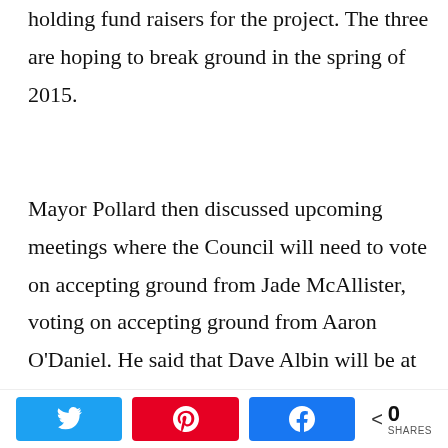holding fund raisers for the project. The three are hoping to break ground in the spring of 2015.
Mayor Pollard then discussed upcoming meetings where the Council will need to vote on accepting ground from Jade McAllister, voting on accepting ground from Aaron O'Daniel. He said that Dave Albin will be at the next meeting to talk about hand held computers for meter